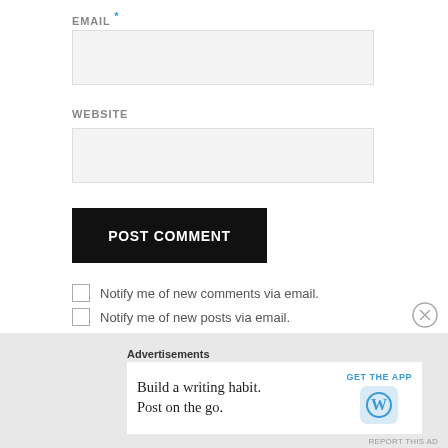EMAIL *
[Figure (screenshot): Empty email input field (light gray background)]
WEBSITE
[Figure (screenshot): Empty website input field (light gray background)]
POST COMMENT
Notify me of new comments via email.
Notify me of new posts via email.
Advertisements
Build a writing habit. Post on the go.
GET THE APP
REPORT THIS AD